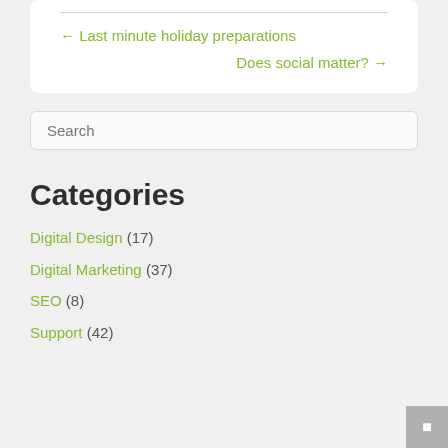← Last minute holiday preparations
Does social matter? →
Search
Categories
Digital Design (17)
Digital Marketing (37)
SEO (8)
Support (42)